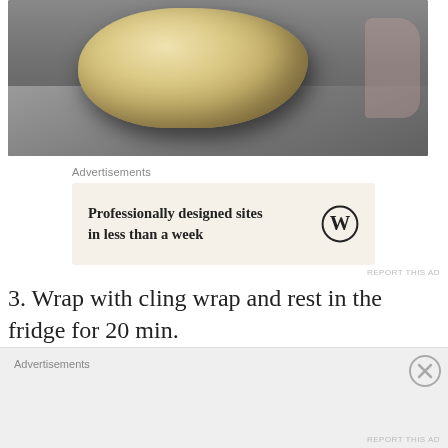[Figure (photo): Photo of a ball of dough on a metal surface, with plastic cling wrap visible on the right side]
Advertisements
[Figure (infographic): Advertisement banner: 'Professionally designed sites in less than a week' with WordPress logo]
REPORT THIS AD
3. Wrap with cling wrap and rest in the fridge for 20 min.
4. Form 10g balls and press using a tart
Advertisements
REPORT THIS AD